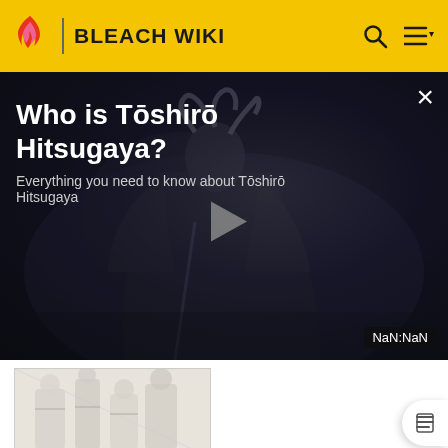BLEACH WIKI
Who is Tōshirō Hitsugaya?
Everything you need to know about Tōshirō Hitsugaya
[Figure (screenshot): Video player overlay showing anime character silhouette with play button in center and NaN:NaN timer badge]
[Figure (illustration): Manga-style illustration of Bleach characters]
Following his victory over Giselle, Mayuri takes an injured Hitsugaya and, along with Rangiku, places him in a special container that will allow them to de-zombify and recover from the battle